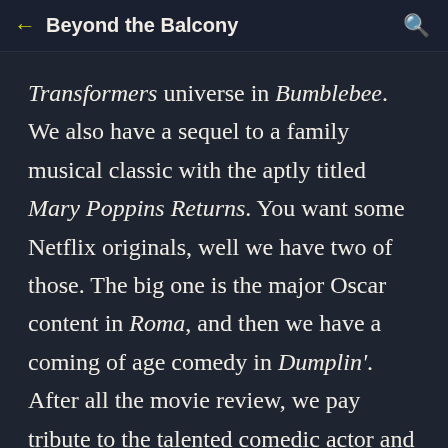Beyond the Balcony
Transformers universe in Bumblebee. We also have a sequel to a family musical classic with the aptly titled Mary Poppins Returns. You want some Netflix originals, well we have two of those. The big one is the major Oscar content in Roma, and then we have a coming of age comedy in Dumplin'. After all the movie review, we pay tribute to the talented comedic actor and director Penny Marshall. It is our final traditional movie review show of 2018 and we end with a packed 90 minutes plus. Thank you so much for listening to us every week this year, and we hope you love the